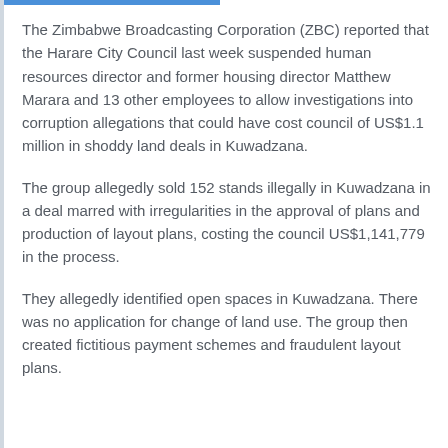The Zimbabwe Broadcasting Corporation (ZBC) reported that the Harare City Council last week suspended human resources director and former housing director Matthew Marara and 13 other employees to allow investigations into corruption allegations that could have cost council of US$1.1 million in shoddy land deals in Kuwadzana.
The group allegedly sold 152 stands illegally in Kuwadzana in a deal marred with irregularities in the approval of plans and production of layout plans, costing the council US$1,141,779 in the process.
They allegedly identified open spaces in Kuwadzana. There was no application for change of land use. The group then created fictitious payment schemes and fraudulent layout plans.